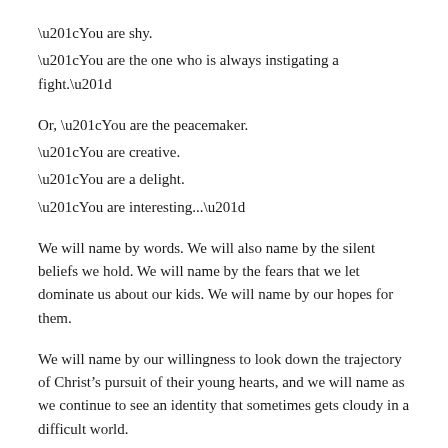“You are shy.
“You are the one who is always instigating a fight.”
Or, “You are the peacemaker.
“You are creative.
“You are a delight.
“You are interesting...”
We will name by words. We will also name by the silent beliefs we hold. We will name by the fears that we let dominate us about our kids. We will name by our hopes for them.
We will name by our willingness to look down the trajectory of Christ’s pursuit of their young hearts, and we will name as we continue to see an identity that sometimes gets cloudy in a difficult world.
We will name like a needle pointing North, like a lodestar, like a gravitational pull.